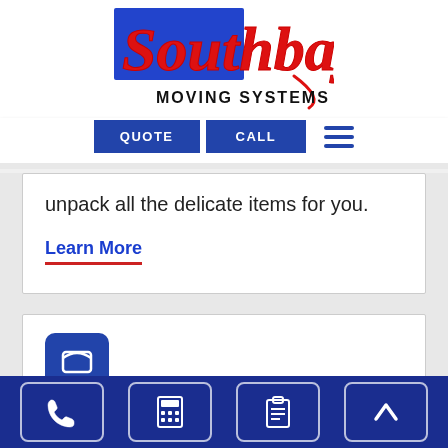[Figure (logo): Southbay Moving Systems Inc. logo with red cursive Southbay text on blue background and black MOVING SYSTEMS INC. text below]
[Figure (screenshot): Navigation bar with QUOTE and CALL buttons in dark blue, and hamburger menu icon]
unpack all the delicate items for you.
Learn More
[Figure (screenshot): Partial second content card with blue rounded icon box visible]
[Figure (infographic): Bottom navigation bar with phone, calculator, clipboard, and up-arrow icons in rounded square buttons on dark blue background]